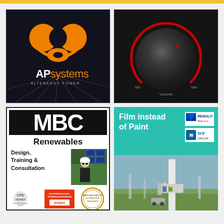[Figure (logo): APsystems / Altenergy Power logo on dark background with orange symbol]
[Figure (photo): Black volume knob dial with red indicator arc, Min and Max labels, Volume text below]
[Figure (logo): MBC Renewables - Design, Training & Consultation logo with CPD, California Solar+Storage Association, and NABCEP badges]
[Figure (photo): Film instead of Paint - Renolit / WP Group advertisement with teal header and wind turbine maintenance photo]